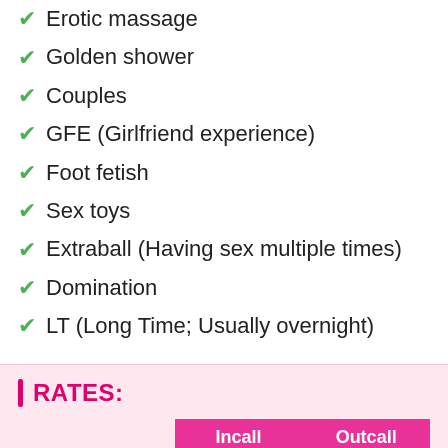Erotic massage
Golden shower
Couples
GFE (Girlfriend experience)
Foot fetish
Sex toys
Extraball (Having sex multiple times)
Domination
LT (Long Time; Usually overnight)
RATES:
|  | Incall | Outcall |
| --- | --- | --- |
| 30 minutes | 3000 INR | 3500 INR |
| 1 hour | 6000 INR | 7000 INR |
| 1 h... | 12000 INR | 14000 INR |